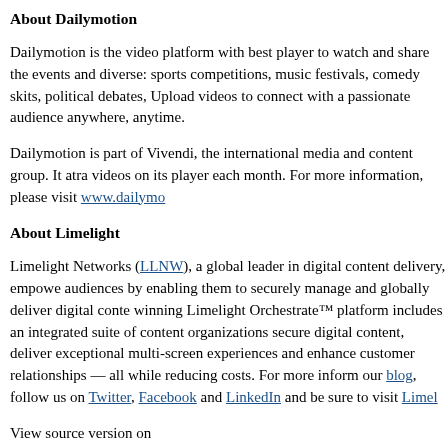About Dailymotion
Dailymotion is the video platform with best player to watch and share the events and diverse: sports competitions, music festivals, comedy skits, political debates, Upload videos to connect with a passionate audience anywhere, anytime.
Dailymotion is part of Vivendi, the international media and content group. It attracts videos on its player each month. For more information, please visit www.dailymo
About Limelight
Limelight Networks (LLNW), a global leader in digital content delivery, empowers audiences by enabling them to securely manage and globally deliver digital content. The winning Limelight Orchestrate™ platform includes an integrated suite of content organizations secure digital content, deliver exceptional multi-screen experiences and enhance customer relationships — all while reducing costs. For more information, our blog, follow us on Twitter, Facebook and LinkedIn and be sure to visit Limelight
View source version on businesswire.com:http://www.businesswire.com/news/ho
Contact: